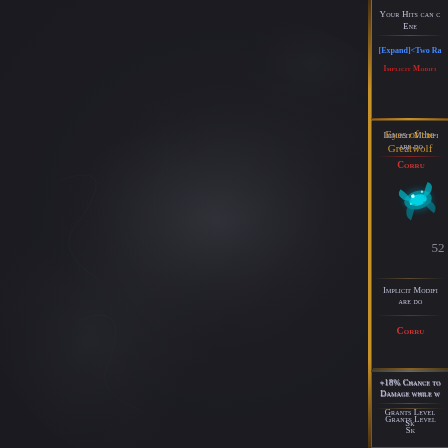[Figure (screenshot): Path of Exile game UI screenshot showing item list with two unique items: Eyes of the Greatwolf (amulet, level 52) and Martyr of Innocence (staff, level 52), with item properties visible on right panel including modifiers and stat text in blue and red small-caps font on dark background]
Your Hits can cause ENE...
[EXPAND]<TWO RA... IMPLICIT MODIFI...
Eyes of the Greatwolf
52
IMPLICIT MODIFI... ARE DO...
CORRU...
+18% CHANCE TO... DAMAGE WHILE W...
GRANTS LEVEL... SK...
Martyr of Innocence
+(12-16)% CHA... ATTACK DAMAGE W...
STA...
100% INCREASE...
ADDS (315-360) T... DAM...
52
BATT...